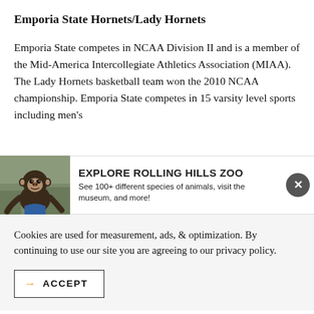Emporia State Hornets/Lady Hornets
Emporia State competes in NCAA Division II and is a member of the Mid-America Intercollegiate Athletics Association (MIAA). The Lady Hornets basketball team won the 2010 NCAA championship. Emporia State competes in 15 varsity level sports including men's
[Figure (infographic): Advertisement banner for Rolling Hills Zoo showing a chimpanzee photo on the left with the heading EXPLORE ROLLING HILLS ZOO and subtext 'See 100+ different species of animals, visit the museum, and more!' with a close button on the right]
Cookies are used for measurement, ads, & optimization. By continuing to use our site you are agreeing to our privacy policy.
ACCEPT (button with arrow)
Emporia State Eagles (blurred/partially visible)